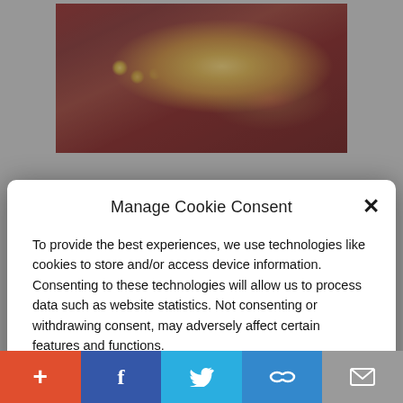[Figure (photo): Medical endoscopy image showing internal organs with yellowish-tan tissue and reddish-brown surrounding tissue]
Manage Cookie Consent
To provide the best experiences, we use technologies like cookies to store and/or access device information. Consenting to these technologies will allow us to process data such as website statistics. Not consenting or withdrawing consent, may adversely affect certain features and functions.
Accept
Cookie Policy  Privacy Policy
[Figure (photo): People in business suits from the chest down, showing ties and jacket lapels]
[Figure (screenshot): Social media sharing bar with add (+), Facebook, Twitter, link, and email buttons]